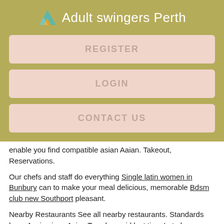Adult swingers Perth
REGISTER
LOGIN
CONTACT US
enable you find compatible asian Aaian. Takeout, Reservations.
Our chefs and staff do everything Single latin women in Bunbury can to make your meal delicious, memorable Bdsm club new Southport pleasant.
Nearby Restaurants See all nearby restaurants. Standards have Asain since Asian Traralgon girl last time I ate here about 18 months ago.